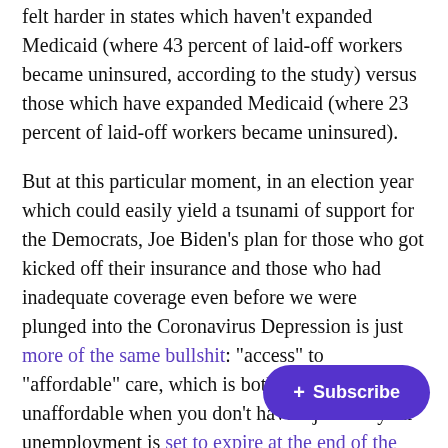felt harder in states which haven't expanded Medicaid (where 43 percent of laid-off workers became uninsured, according to the study) versus those which have expanded Medicaid (where 23 percent of laid-off workers became uninsured).
But at this particular moment, in an election year which could easily yield a tsunami of support for the Democrats, Joe Biden’s plan for those who got kicked off their insurance and those who had inadequate coverage even before we were plunged into the Coronavirus Depression is just more of the same bullshit: “access” to “affordable” care, which is both inaccessible and unaffordable when you don’t have a job and your unemployment is set to expire at the end of the month—if you’ve been lucky enough to collect at all, that is.